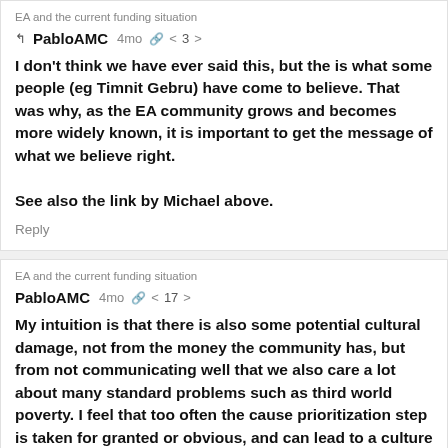EA and the current funding situation
↰  PabloAMC  4mo 🔗 < 3 >
I don't think we have ever said this, but the is what some people (eg Timnit Gebru) have come to believe. That was why, as the EA community grows and becomes more widely known, it is important to get the message of what we believe right.

See also the link by Michael above.
Reply
EA and the current funding situation
PabloAMC  4mo 🔗 < 17 >
My intuition is that there is also some potential cultural damage, not from the money the community has, but from not communicating well that we also care a lot about many standard problems such as third world poverty. I feel that too often the cause prioritization step is taken for granted or obvious, and can lead to a culture where only "cool AI Safety stuff" is the only thing worth